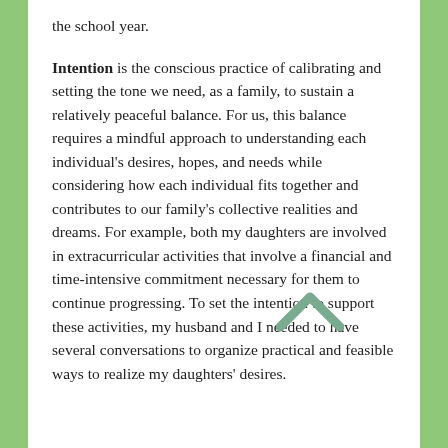the school year.
Intention is the conscious practice of calibrating and setting the tone we need, as a family, to sustain a relatively peaceful balance. For us, this balance requires a mindful approach to understanding each individual's desires, hopes, and needs while considering how each individual fits together and contributes to our family's collective realities and dreams. For example, both my daughters are involved in extracurricular activities that involve a financial and time-intensive commitment necessary for them to continue progressing. To set the intention to support these activities, my husband and I needed to have several conversations to organize practical and feasible ways to realize my daughters' desires.